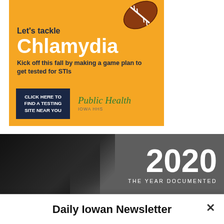[Figure (infographic): Public health advertisement with orange background, football image, text 'Let's tackle Chlamydia - Kick off this fall by making a game plan to get tested for STIs', a navy blue button 'CLICK HERE TO FIND A TESTING SITE NEAR YOU', and Public Health Iowa HHS logo.]
[Figure (photo): Dark banner image showing '2020 THE YEAR DOCUMENTED' text on grey background with a black and white photo on the left side showing a person.]
Daily Iowan Newsletter